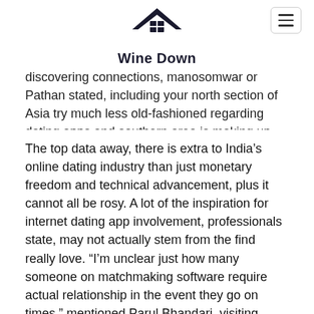Wine Down
discovering connections, manosomwar or Pathan stated, including your north section of Asia try much less old-fashioned regarding dating apps and southern area is making up ground.
The top data away, there is extra to India’s online dating industry than just monetary freedom and technical advancement, plus it cannot all be rosy. A lot of the inspiration for internet dating app involvement, professionals state, may not actually stem from the find really love. “I’m unclear just how many someone on matchmaking software require actual relationship in the event they go on times,” mentioned Parul Bhandari, visiting scholar, college of Cambridge exactly who researches on relationship, gender, enchanting connections, middle-income group, and elites. Bhandari remarked that not in all covers would internet dating